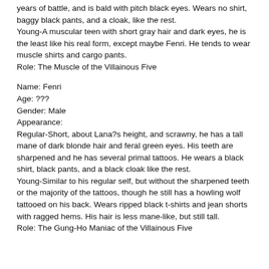years of battle, and is bald with pitch black eyes. Wears no shirt, baggy black pants, and a cloak, like the rest.
Young-A muscular teen with short gray hair and dark eyes, he is the least like his real form, except maybe Fenri. He tends to wear muscle shirts and cargo pants.
Role: The Muscle of the Villainous Five
Name: Fenri
Age: ???
Gender: Male
Appearance:
Regular-Short, about Lana?s height, and scrawny, he has a tall mane of dark blonde hair and feral green eyes. His teeth are sharpened and he has several primal tattoos. He wears a black shirt, black pants, and a black cloak like the rest.
Young-Similar to his regular self, but without the sharpened teeth or the majority of the tattoos, though he still has a howling wolf tattooed on his back. Wears ripped black t-shirts and jean shorts with ragged hems. His hair is less mane-like, but still tall.
Role: The Gung-Ho Maniac of the Villainous Five